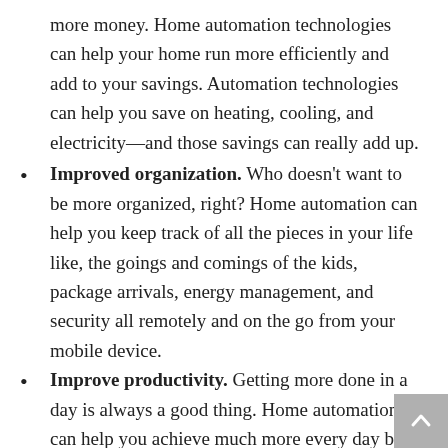more money. Home automation technologies can help your home run more efficiently and add to your savings. Automation technologies can help you save on heating, cooling, and electricity—and those savings can really add up.
Improved organization. Who doesn't want to be more organized, right? Home automation can help you keep track of all the pieces in your life like, the goings and comings of the kids, package arrivals, energy management, and security all remotely and on the go from your mobile device.
Improve productivity. Getting more done in a day is always a good thing. Home automation can help you achieve much more every day by streamlining a multitude of time robbing tasks. Even better, you can use home automation to support other productivity efforts. You can schedule entertainment to turn on after